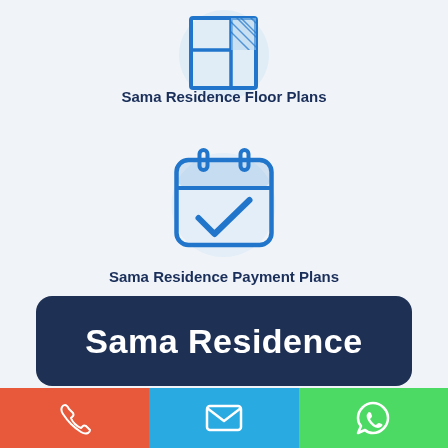[Figure (illustration): Floor plan icon — blue outline of a floor plan with hatched area, on a light blue circular background]
Sama Residence Floor Plans
[Figure (illustration): Calendar with checkmark icon — blue outline calendar with a blue checkmark, on a light blue circular background]
Sama Residence Payment Plans
Sama Residence
[Figure (infographic): Bottom contact bar with three buttons: phone (orange), email (blue), WhatsApp (green)]